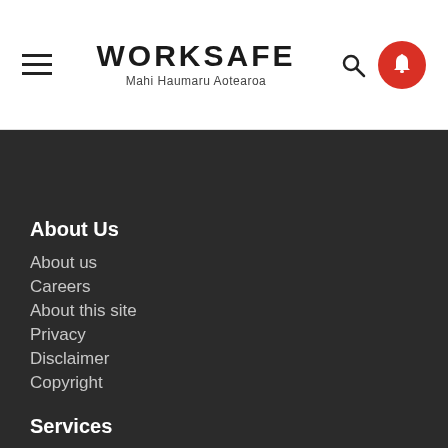[Figure (logo): WorkSafe New Zealand logo with text WORKSAFE and subtitle Mahi Haumaru Aotearoa]
About Us
About us
Careers
About this site
Privacy
Disclaimer
Copyright
Services